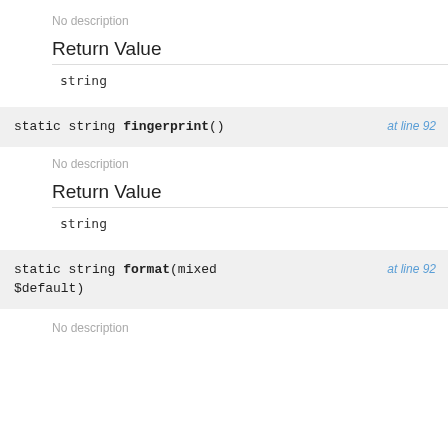No description
Return Value
string
static string fingerprint()   at line 92
No description
Return Value
string
static string format(mixed $default)   at line 92
No description